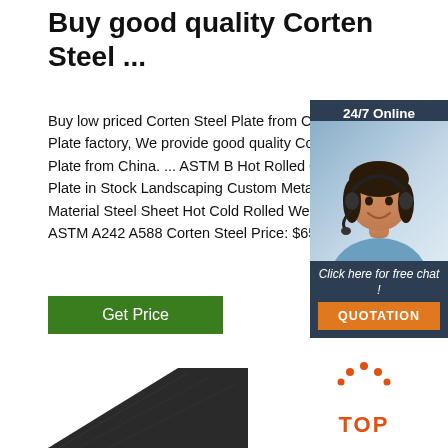Buy good quality Corten Steel ...
Buy low priced Corten Steel Plate from Corten Steel Plate factory, We provide good quality Corten Steel Plate from China. ... ASTM B Hot Rolled Corten Steel Plate in Stock Landscaping Custom Metal Products ... Material Steel Sheet Hot Cold Rolled Weather Resistant ASTM A242 A588 Corten Steel Price: $657.14 Ton ...
[Figure (screenshot): Green 'Get Price' button]
[Figure (screenshot): 24/7 Online chat widget with woman wearing headset, Click here for free chat!, QUOTATION button]
[Figure (photo): Dark gray steel plate surface, diagonal view]
[Figure (logo): Orange TOP button with dot arch above letters]